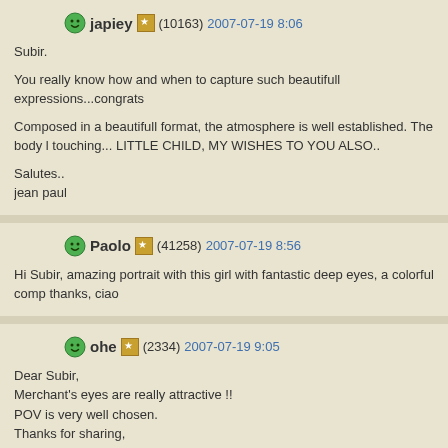japiey (10163) 2007-07-19 8:06
Subir.

You really know how and when to capture such beautifull expressions...congrats

Composed in a beautifull format, the atmosphere is well established. The body l touching... LITTLE CHILD, MY WISHES TO YOU ALSO..

Salutes..
jean paul
Paolo (41258) 2007-07-19 8:56
Hi Subir, amazing portrait with this girl with fantastic deep eyes, a colorful comp thanks, ciao
ohe (2334) 2007-07-19 9:05
Dear Subir,
Merchant's eyes are really attractive !!
POV is very well chosen.
Thanks for sharing,
- Olivier -